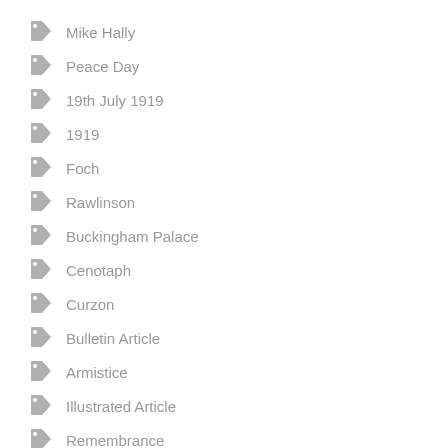Mike Hally
Peace Day
19th July 1919
1919
Foch
Rawlinson
Buckingham Palace
Cenotaph
Curzon
Bulletin Article
Armistice
Illustrated Article
Remembrance